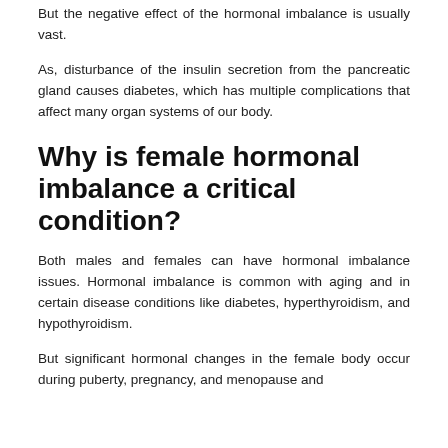But the negative effect of the hormonal imbalance is usually vast.
As, disturbance of the insulin secretion from the pancreatic gland causes diabetes, which has multiple complications that affect many organ systems of our body.
Why is female hormonal imbalance a critical condition?
Both males and females can have hormonal imbalance issues. Hormonal imbalance is common with aging and in certain disease conditions like diabetes, hyperthyroidism, and hypothyroidism.
But significant hormonal changes in the female body occur during puberty, pregnancy, and menopause and